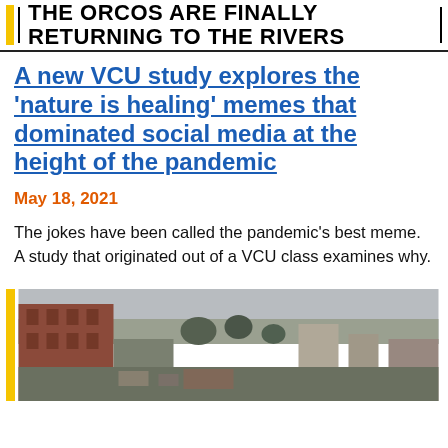THE ORCOS ARE FINALLY RETURNING TO THE RIVERS
A new VCU study explores the ‘nature is healing’ memes that dominated social media at the height of the pandemic
May 18, 2021
The jokes have been called the pandemic’s best meme. A study that originated out of a VCU class examines why.
[Figure (photo): Outdoor photo showing buildings and a landscape area, appears to be a university or urban campus setting]